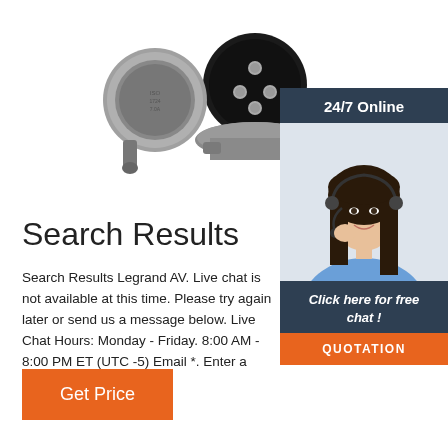[Figure (photo): Electrical connector plug / socket with metal housing and multiple pins shown open, silver/grey metallic circular connector]
[Figure (photo): 24/7 Online support panel showing a smiling female customer service representative wearing a headset, with dark navy background, 'Click here for free chat!' text, and an orange QUOTATION button]
Search Results
Search Results Legrand AV. Live chat is not available at this time. Please try again later or send us a message below. Live Chat Hours: Monday - Friday. 8:00 AM - 8:00 PM ET (UTC -5) Email *. Enter a valid email address.
[Figure (other): Orange 'Get Price' button]